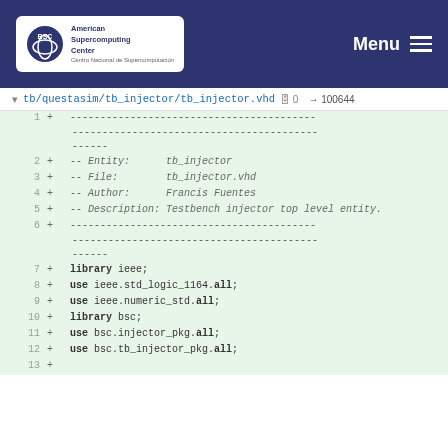American Supercomputing Center — Menu
tb/questasim/tb_injector/tb_injector.vhd → 100644
[Figure (screenshot): Git diff view of tb_injector.vhd file showing added lines 1-13 with VHDL code including library and use declarations]
+ -- Entity: tb_injector
+ -- File: tb_injector.vhd
+ -- Author: Francis Fuentes
+ -- Description: Testbench injector top level entity.
+ library ieee;
+ use ieee.std_logic_1164.all;
+ use ieee.numeric_std.all;
+ library bsc;
+ use bsc.injector_pkg.all;
+ use bsc.tb_injector_pkg.all;
+